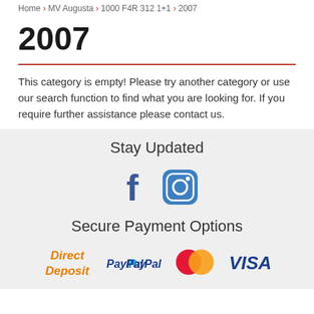Home > MV Augusta > 1000 F4R 312 1+1 > 2007
2007
This category is empty! Please try another category or use our search function to find what you are looking for. If you require further assistance please contact us.
Stay Updated
[Figure (infographic): Facebook and Instagram social media icons in dark blue]
Secure Payment Options
[Figure (infographic): Payment logos: Direct Deposit (orange), PayPal (blue), Mastercard (red/orange circles), Visa (blue/gold)]